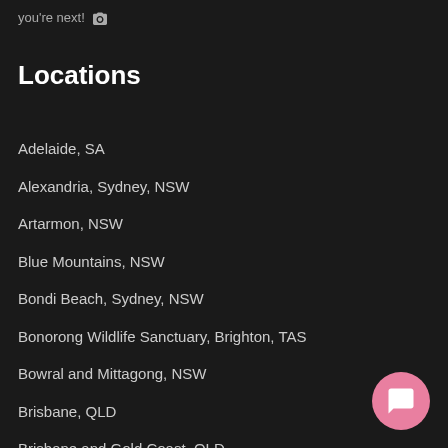you're next! 📷
Locations
Adelaide, SA
Alexandria, Sydney, NSW
Artarmon, NSW
Blue Mountains, NSW
Bondi Beach, Sydney, NSW
Bonorong Wildlife Sanctuary, Brighton, TAS
Bowral and Mittagong, NSW
Brisbane, QLD
Brisbane and Gold Coast, QLD
Broome, WA
Bruny Island, TAS
Byron Bay, NSW